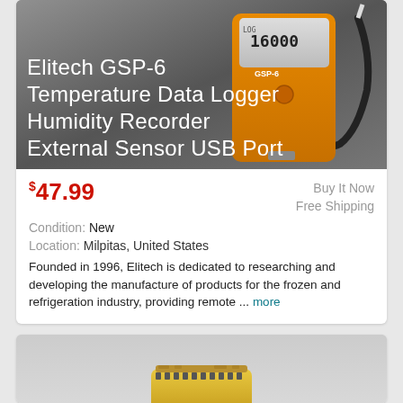[Figure (photo): Elitech GSP-6 Temperature Data Logger device with orange body, digital display showing numbers, USB cable, on grey background. Overlaid white text reads: Elitech GSP-6 Temperature Data Logger Humidity Recorder External Sensor USB Port]
$47.99  Buy It Now  Free Shipping  Condition: New  Location: Milpitas, United States  Founded in 1996, Elitech is dedicated to researching and developing the manufacture of products for the frozen and refrigeration industry, providing remote ... more
[Figure (photo): Yellow data logger device, partially visible at bottom of card, on light grey background.]